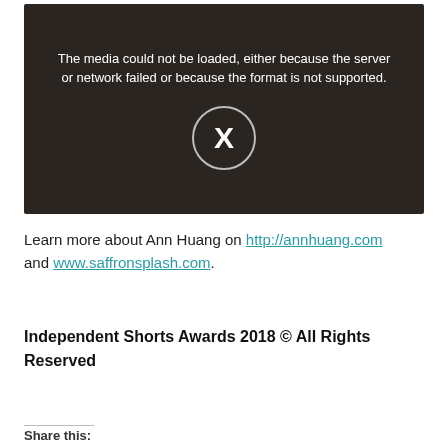[Figure (screenshot): Video player error state showing a dark background with hands holding seeds, displaying the message 'The media could not be loaded, either because the server or network failed or because the format is not supported.' with an X button in a circle.]
Learn more about Ann Huang on http://annhuang.com and www.saffronsplash.com.
Independent Shorts Awards 2018 © All Rights Reserved
Share this: